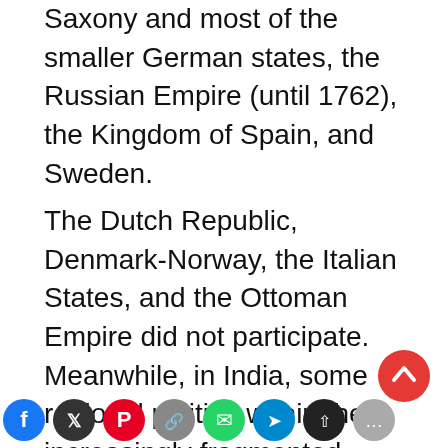Saxony and most of the smaller German states, the Russian Empire (until 1762), the Kingdom of Spain, and Sweden.
The Dutch Republic, Denmark-Norway, the Italian States, and the Ottoman Empire did not participate. Meanwhile, in India, some regional polities within the increasingly fragmented Mughal Empire, with the support of the French, failed to defeat a British attempt to conquer Bengal.
[Figure (other): Social sharing icons row (Facebook, Twitter/X, Pinterest, Link, WhatsApp, Telegram, and others) at the bottom of the page, plus a red scroll-to-top button.]